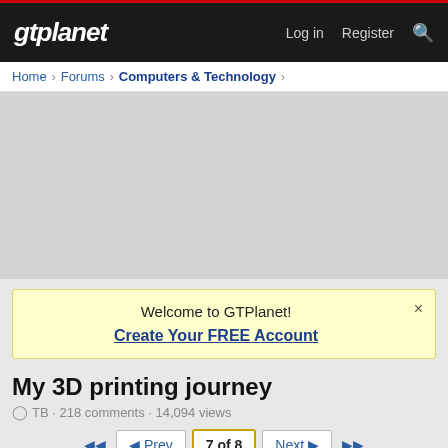gtplanet  Log in  Register
Home > Forums > Computers & Technology >
[Figure (other): Gray advertisement placeholder area]
Welcome to GTPlanet! Create Your FREE Account
My 3D printing journey
TB · 218 comments · 14,094 views
◄◄  ◄ Prev  7 of 8  Next ►  ►►
TB  Moderator